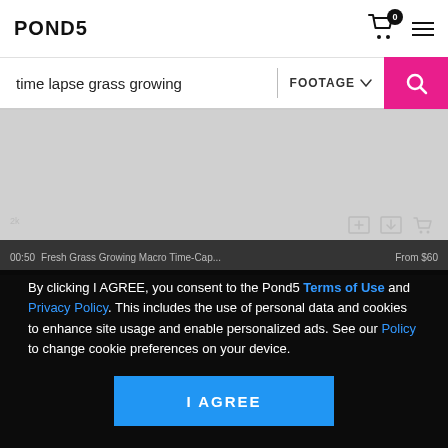POND5
time lapse grass growing | FOOTAGE
[Figure (screenshot): Gray video preview area with dark semi-transparent bottom bar showing video metadata: 00:50, Fresh Grass Growing Macro Time-Cap..., From $60, 2k. Three icons (add, download, cart) in top-right of dark area.]
By clicking I AGREE, you consent to the Pond5 Terms of Use and Privacy Policy. This includes the use of personal data and cookies to enhance site usage and enable personalized ads. See our Policy to change cookie preferences on your device.
I AGREE